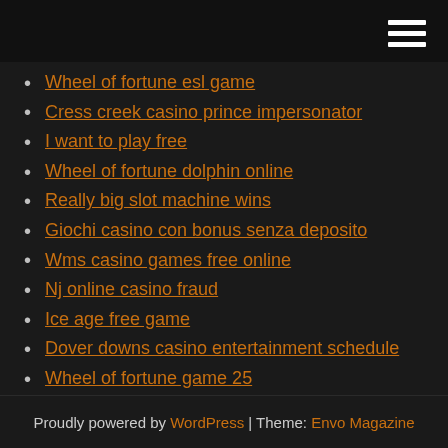Wheel of fortune esl game
Cress creek casino prince impersonator
I want to play free
Wheel of fortune dolphin online
Really big slot machine wins
Giochi casino con bonus senza deposito
Wms casino games free online
Nj online casino fraud
Ice age free game
Dover downs casino entertainment schedule
Wheel of fortune game 25
Proudly powered by WordPress | Theme: Envo Magazine